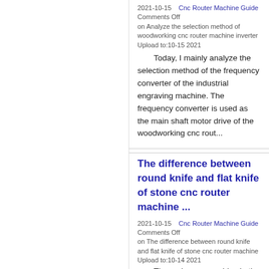2021-10-15    Cnc Router Machine Guide
Comments Off
on Analyze the selection method of woodworking cnc router machine inverter Upload to:10-15 2021
Today, I mainly analyze the selection method of the frequency converter of the industrial engraving machine. The frequency converter is used as the main shaft motor drive of the woodworking cnc rout...
The difference between round knife and flat knife of stone cnc router machine ...
2021-10-15    Cnc Router Machine Guide
Comments Off
on The difference between round knife and flat knife of stone cnc router machine Upload to:10-14 2021
The main consumables in the application of stone cnc router machines: engraving knives, generally round knives and flat knives are commonly used. The differences are:      Round knife of stone